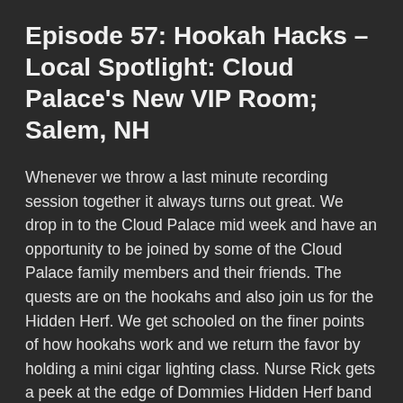Episode 57: Hookah Hacks – Local Spotlight: Cloud Palace's New VIP Room; Salem, NH
Whenever we throw a last minute recording session together it always turns out great. We drop in to the Cloud Palace mid week and have an opportunity to be joined by some of the Cloud Palace family members and their friends. The quests are on the hookahs and also join us for the Hidden Herf. We get schooled on the finer points of how hookahs work and we return the favor by holding a mini cigar lighting class. Nurse Rick gets a peek at the edge of Dommies Hidden Herf band and figures it out quickly. Mustang Mike surprises us by dropping in mid-show and gets into it with the guests.
Conspiracy Corner: Immigration, draining the swap, and Boston sports.